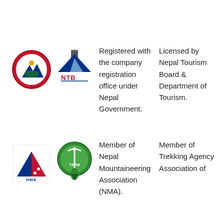[Figure (logo): Nepal Government coat of arms emblem (red circular badge with blue mountains and map)]
[Figure (logo): NTB Nepal Tourism Board logo (stupa and mountains with NTB text in blue/red)]
Registered with the company registration office under Nepal Government.
Licensed by Nepal Tourism Board & Department of Tourism.
[Figure (logo): NMA Nepal Mountaineering Association logo (red and blue triangle with NMA text)]
[Figure (logo): TAAN Trekking Agencies Association of Nepal logo (green circular with ice axe)]
Member of Nepal Mountaineering Association (NMA).
Member of Trekking Agency Association of